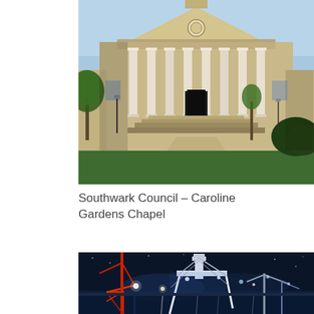[Figure (photo): Photograph of a neoclassical building with large white columns, a triangular pediment with circular clock/relief, stone facade, and green lawn in front. Trees visible on either side. Blue sky background. Caroline Gardens Chapel, Southwark.]
Southwark Council – Caroline Gardens Chapel
[Figure (photo): Night photograph of a construction site near water, showing a large white arch structure (bridge or crane), a red crane, and multiple cranes and lights illuminating the scene against a dark blue night sky.]